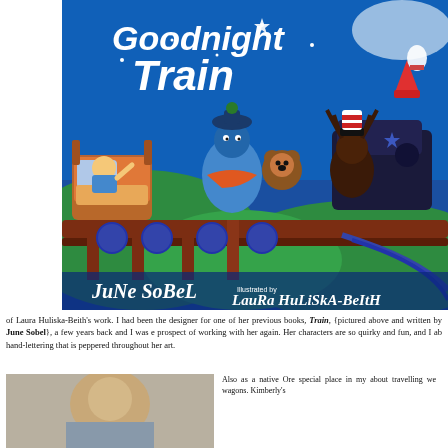[Figure (illustration): Book cover of 'Goodnight Train' by June Sobel, illustrated by Laura Huliska-Beith. Shows a whimsical nighttime scene with a train on a bridge, carrying a child in a bed and fantastical animal characters. Deep blue sky background with stars and moon. Authors' names in stylized lettering at the bottom.]
of Laura Huliska-Beith's work. I had been the designer for one of her previous books, Train, {pictured above and written by June Sobel}, a few years back and I was e prospect of working with her again. Her characters are so quirky and fun, and I ab hand-lettering that is peppered throughout her art.
[Figure (photo): Partial photo of a person visible at the bottom left of the page.]
Also as a native Ore special place in my about travelling we wagons. Kimberly's